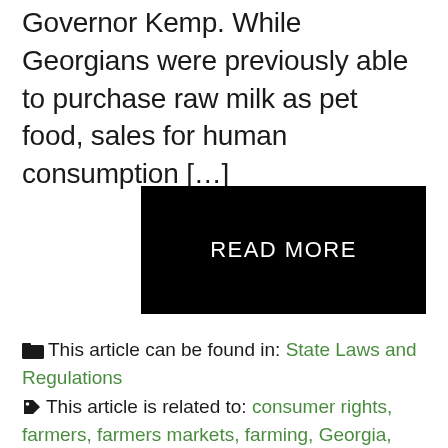Governor Kemp. While Georgians were previously able to purchase raw milk as pet food, sales for human consumption […]
READ MORE
🗂 This article can be found in: State Laws and Regulations
🏷 This article is related to: consumer rights, farmers, farmers markets, farming, Georgia, raw butter, raw ice cream, raw milk, raw milk bills, raw milk laws, state legislation